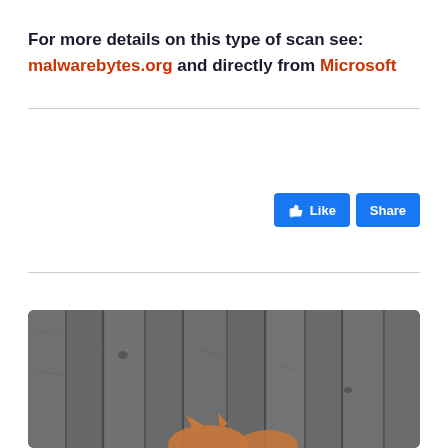For more details on this type of scan see: malwarebytes.org and directly from Microsoft
[Figure (photo): Photo of wooden fence planks in grey/brown tones with what appears to be an animal (fox or cat) partially visible at the bottom of the image.]